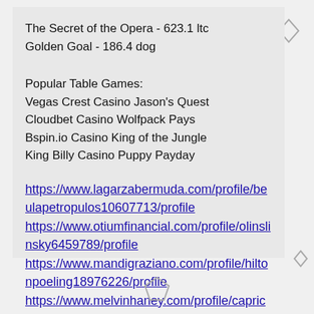The Secret of the Opera - 623.1 ltc
Golden Goal - 186.4 dog
Popular Table Games:
Vegas Crest Casino Jason's Quest
Cloudbet Casino Wolfpack Pays
Bspin.io Casino King of the Jungle
King Billy Casino Puppy Payday
https://www.lagarzabermuda.com/profile/beulapetropulos10607713/profile
https://www.otiumfinancial.com/profile/olinslinsky6459789/profile
https://www.mandigraziano.com/profile/hiltonpoeling18976226/profile
https://www.melvinhaney.com/profile/capricesables14584136/profile